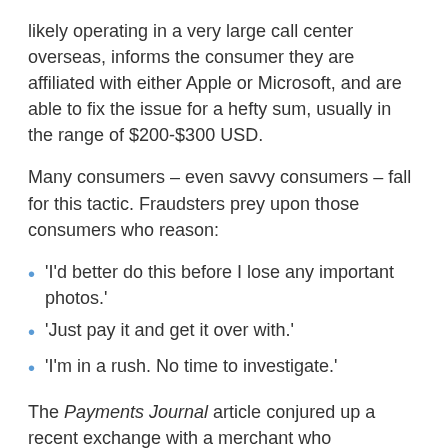likely operating in a very large call center overseas, informs the consumer they are affiliated with either Apple or Microsoft, and are able to fix the issue for a hefty sum, usually in the range of $200-$300 USD.
Many consumers – even savvy consumers – fall for this tactic. Fraudsters prey upon those consumers who reason:
'I'd better do this before I lose any important photos.'
'Just pay it and get it over with.'
'I'm in a rush. No time to investigate.'
The Payments Journal article conjured up a recent exchange with a merchant who approached us about